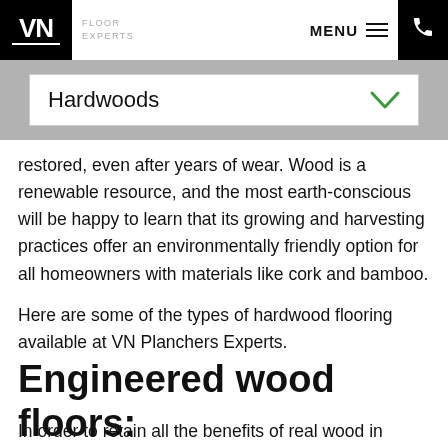VN FLOOR EXPERTS | MENU | Phone
Hardwoods
restored, even after years of wear. Wood is a renewable resource, and the most earth-conscious will be happy to learn that its growing and harvesting practices offer an environmentally friendly option for all homeowners with materials like cork and bamboo.
Here are some of the types of hardwood flooring available at VN Planchers Experts.
Engineered wood floors:
In order to retain all the benefits of real wood in areas where hardwood floors are not recommended, the latest technologies have been developed